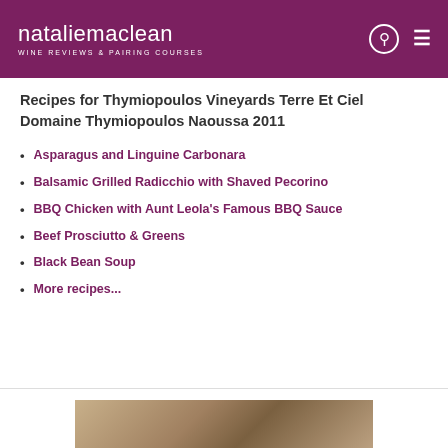nataliemaclean WINE REVIEWS & PAIRING COURSES
Recipes for Thymiopoulos Vineyards Terre Et Ciel Domaine Thymiopoulos Naoussa 2011
Asparagus and Linguine Carbonara
Balsamic Grilled Radicchio with Shaved Pecorino
BBQ Chicken with Aunt Leola's Famous BBQ Sauce
Beef Prosciutto & Greens
Black Bean Soup
More recipes...
[Figure (photo): Partial image of wine bottle label at bottom of page]